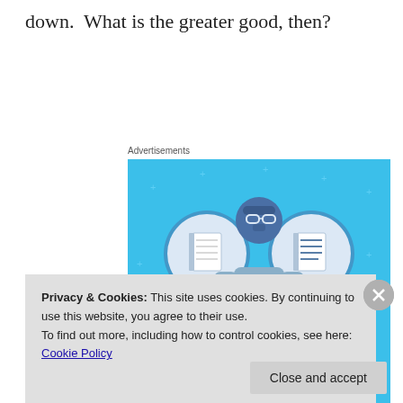down.  What is the greater good, then?
Advertisements
[Figure (illustration): Day One app advertisement with blue background showing a cartoon person holding a phone, flanked by two circular icons with notebook graphics. Text reads 'DAY ONE – The only journaling app you'll ever need.']
Privacy & Cookies: This site uses cookies. By continuing to use this website, you agree to their use.
To find out more, including how to control cookies, see here: Cookie Policy
Close and accept